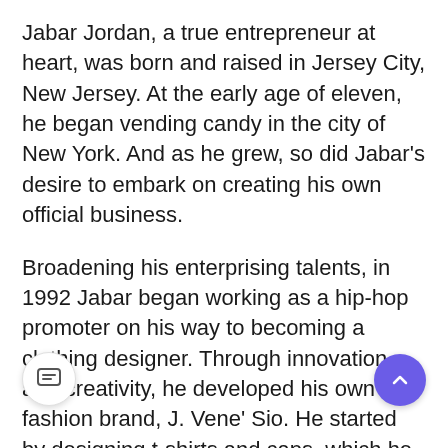Jabar Jordan, a true entrepreneur at heart, was born and raised in Jersey City, New Jersey. At the early age of eleven, he began vending candy in the city of New York. And as he grew, so did Jabar's desire to embark on creating his own official business.
Broadening his enterprising talents, in 1992 Jabar began working as a hip-hop promoter on his way to becoming a clothing designer. Through innovation and creativity, he developed his own fashion brand, J. Vene' Sio. He started by designing t-shirts and caps, which he would vend to family, friends and the general public. Furthermore, he began participating in local business events, promoting, expanding and making a name for his brand.